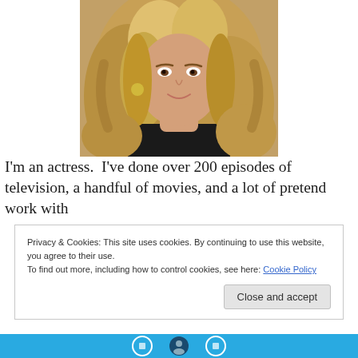[Figure (photo): Headshot of a blonde woman with curly hair wearing a black top, smiling at the camera]
I'm an actress.  I've done over 200 episodes of television, a handful of movies, and a lot of pretend work with
Privacy & Cookies: This site uses cookies. By continuing to use this website, you agree to their use.
To find out more, including how to control cookies, see here: Cookie Policy
Close and accept